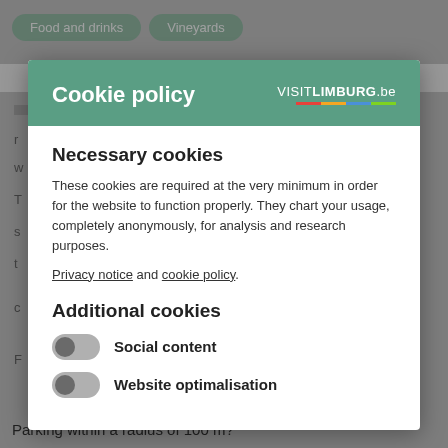[Figure (screenshot): Background of a website with category pills (Food and drinks, Vineyards), a header bar with VISITLIMBURG.be, and text lines partially visible behind a modal overlay.]
Cookie policy
Necessary cookies
These cookies are required at the very minimum in order for the website to function properly. They chart your usage, completely anonymously, for analysis and research purposes.
Privacy notice and cookie policy.
Additional cookies
Social content
Website optimalisation
Parking within a radius of 100 m?